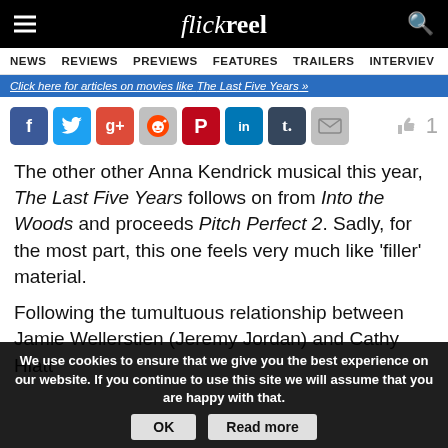flickreel
NEWS  REVIEWS  PREVIEWS  FEATURES  TRAILERS  INTERVIEWS
Click here for articles on movies like The Last Five Years »
[Figure (other): Social media share icons: Facebook, Twitter, Google+, Reddit, Pinterest, LinkedIn, Tumblr, Email. Like button with count 1.]
The other other Anna Kendrick musical this year, The Last Five Years follows on from Into the Woods and proceeds Pitch Perfect 2. Sadly, for the most part, this one feels very much like 'filler' material.
Following the tumultuous relationship between Jamie Wellerstien (Jeremy Jordan) and Cathy Hiatt
We use cookies to ensure that we give you the best experience on our website. If you continue to use this site we will assume that you are happy with that.